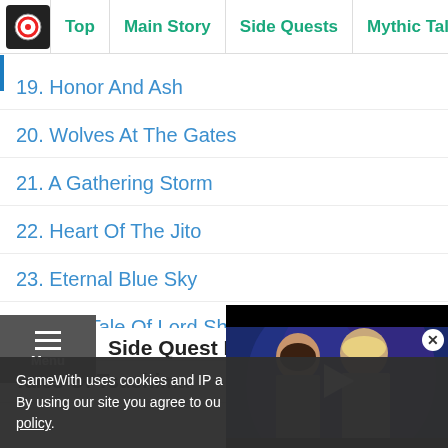Top | Main Story | Side Quests | Mythic Tales | Best Bu...
19. Honor And Ash
20. Wolves At The Gates
21. A Gathering Storm
22. Heart Of The Jito
23. Eternal Blue Sky
24. The Tale Of Lord Shimura
Side Quest List
Tales Of Tsushima
[Figure (screenshot): Video popup showing two people, with a play button overlay and a close (X) button in the top right corner]
GameWith uses cookies and IP a... By using our site you agree to ou... policy.